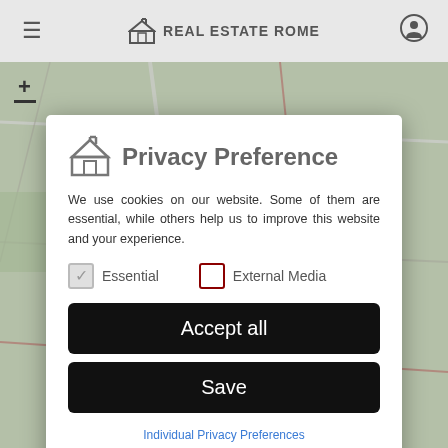[Figure (screenshot): Real Estate Rome website header navigation bar with hamburger menu, logo, and account icon]
[Figure (map): Background map of Rome area shown behind the privacy preference modal dialog, partially obscured by overlay]
Privacy Preference
We use cookies on our website. Some of them are essential, while others help us to improve this website and your experience.
Essential
External Media
Accept all
Save
Individual Privacy Preferences
Cookie Details | Privacy Policy